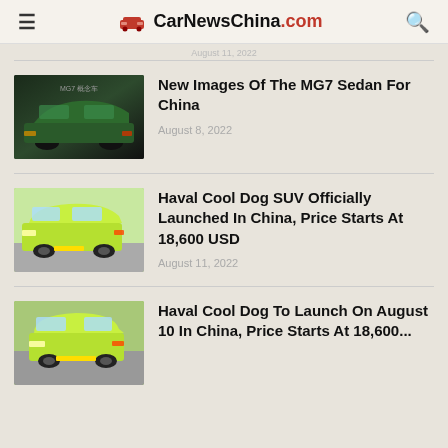CarNewsChina.com
August 11, 2022
[Figure (photo): MG7 Sedan dark green car side view]
New Images Of The MG7 Sedan For China
August 8, 2022
[Figure (photo): Haval Cool Dog SUV yellow-green color side view on street]
Haval Cool Dog SUV Officially Launched In China, Price Starts At 18,600 USD
August 11, 2022
[Figure (photo): Haval Cool Dog SUV yellow-green front-side view]
Haval Cool Dog To Launch On August 10 In China, Price Starts At 18,600...